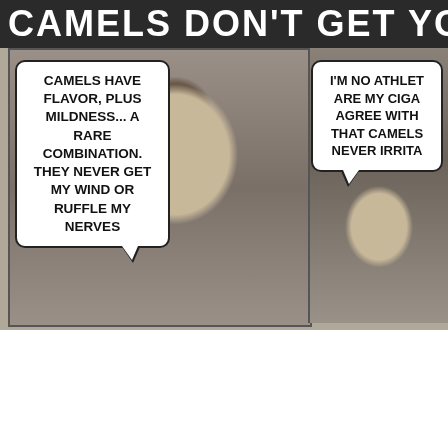CAMELS DONT GET YOUR WI[ND]
CAMELS HAVE FLAVOR, PLUS MILDNESS... A RARE COMBINATION. THEY NEVER GET MY WIND OR RUFFLE MY NERVES
I'M NO ATHLET[E... CAMELS] ARE MY CIGA[RETTES. I] AGREE WITH [THEM] THAT CAMELS [DO] NEVER IRRITA[TE]
[Figure (photo): Newspaper advertisement clipping showing a smiling baseball player wearing a cap with NY logo in the center, with speech bubbles on left and right sides. Partial second figure visible on the right side.]
CAMEL